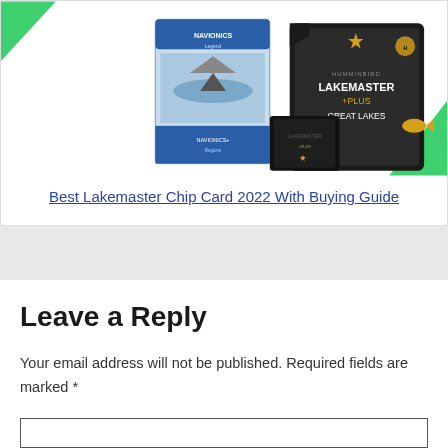[Figure (photo): Product photo showing Lakemaster chip card packages including a box and SD cards with Lakemaster Plus Great Lakes branding]
Best Lakemaster Chip Card 2022 With Buying Guide
Leave a Reply
Your email address will not be published. Required fields are marked *